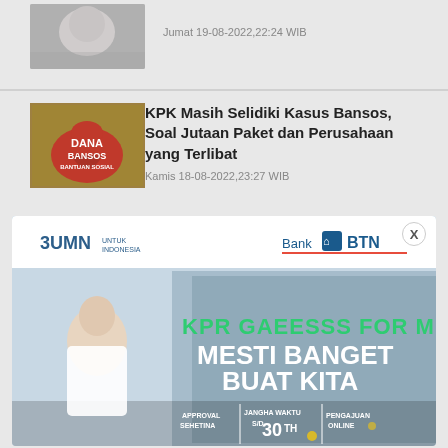[Figure (photo): Black and white photo of a baby sleeping, partially visible at top]
Jumat 19-08-2022,22:24 WIB
[Figure (photo): Red bag labeled DANA BANSOS BANTUAN SOSIAL on background of money]
KPK Masih Selidiki Kasus Bansos, Soal Jutaan Paket dan Perusahaan yang Terlibat
Kamis 18-08-2022,23:27 WIB
[Figure (photo): Bank BTN advertisement banner: KPR GAEESSS FOR MILENIALS MESTI BANGET BUAT KITA with BUMN logo, approval sehetina, jangha waktu s/d 30TH, pengajuan online]
[Figure (photo): Balhome advertisement: Detailing the Luxury with Open button]